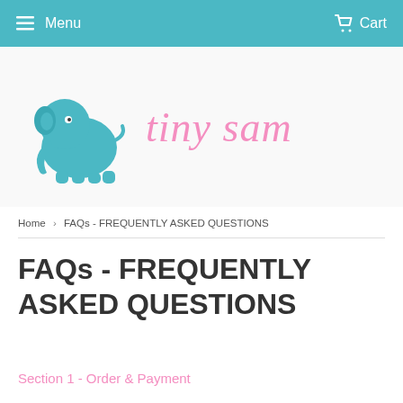Menu  Cart
[Figure (logo): Tiny Sam logo: teal baby elephant on the left, pink cursive 'tiny sam' text on the right]
Home › FAQs - FREQUENTLY ASKED QUESTIONS
FAQs - FREQUENTLY ASKED QUESTIONS
Section 1 - Order & Payment